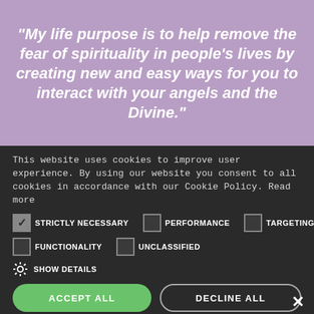“My life purpose is to help remove the fear of spirituality in people’s lives by creating new and easy ways for you to interact with your angels and the Divine.”
This website uses cookies to improve user experience. By using our website you consent to all cookies in accordance with our Cookie Policy. Read more
STRICTLY NECESSARY (checked), PERFORMANCE (unchecked), TARGETING (unchecked)
FUNCTIONALITY (unchecked), UNCLASSIFIED (unchecked)
SHOW DETAILS
ACCEPT ALL
DECLINE ALL
POWERED BY COOKIE-SCRIPT